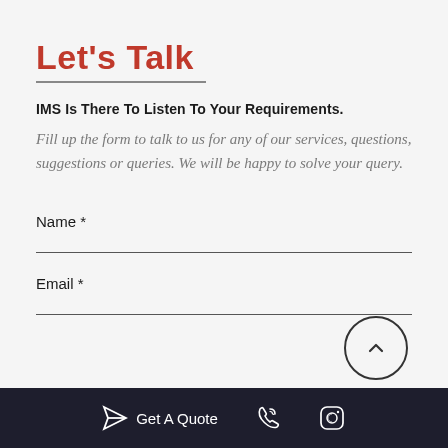Let's Talk
IMS Is There To Listen To Your Requirements.
Fill up the form to talk to us for any of our services, questions, suggestions or queries. We will be happy to solve your query.
Name *
Email *
Get A Quote